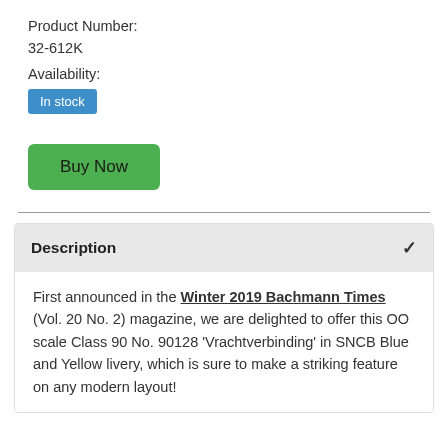Product Number:
32-612K
Availability:
In stock
Buy Now
Description
First announced in the Winter 2019 Bachmann Times (Vol. 20 No. 2) magazine, we are delighted to offer this OO scale Class 90 No. 90128 ‘Vrachtverbinding’ in SNCB Blue and Yellow livery, which is sure to make a striking feature on any modern layout!